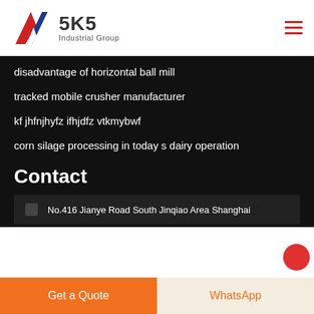[Figure (logo): SKS Industrial Group logo with K chevron mark in red and blue]
disadvantage of horizontal ball mill
tracked mobile crusher manufacturer
kf jhfnjhyfz ifhjdfz vtkmybwf
corn silage processing in today s dairy operation
Contact
No.416 Jianye Road South Jinqiao Area Shanghai
Get a Quote
WhatsApp